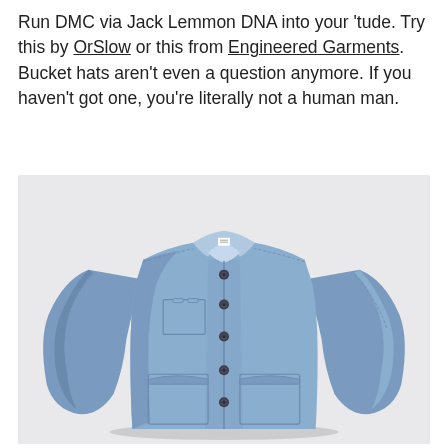Run DMC via Jack Lemmon DNA into your 'tude. Try this by OrSlow or this from Engineered Garments. Bucket hats aren't even a question anymore. If you haven't got one, you're literally not a human man.
[Figure (photo): A blue chambray button-up work jacket with a band collar, five dark buttons down the front placket, two chest pockets, and two lower patch pockets, photographed on a light grey background.]